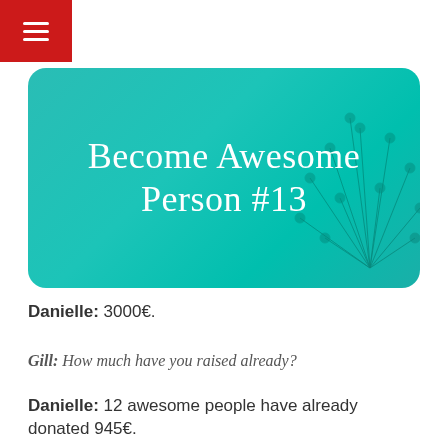☰
[Figure (illustration): Rounded rectangle banner with teal/aqua gradient background and dandelion seed illustration on the right, containing the text 'Become Awesome Person #13' in white serif font]
Danielle: 3000€.
Gill: How much have you raised already?
Danielle: 12 awesome people have already donated 945€.